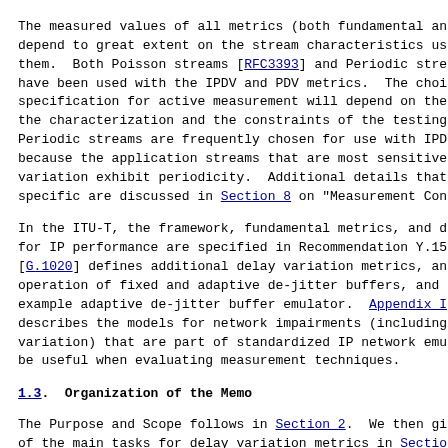The measured values of all metrics (both fundamental and derived) depend to great extent on the stream characteristics used to obtain them. Both Poisson streams [RFC3393] and Periodic streams have been used with the IPDV and PDV metrics. The choice of specification for active measurement will depend on the goals of the characterization and the constraints of the testing. Periodic streams are frequently chosen for use with IPDV and PDV because the application streams that are most sensitive to delay variation exhibit periodicity. Additional details that are stream-specific are discussed in Section 8 on "Measurement Considerations".
In the ITU-T, the framework, fundamental metrics, and definitions for IP performance are specified in Recommendation Y.1540. [G.1020] defines additional delay variation metrics, analyzes the operation of fixed and adaptive de-jitter buffers, and provides an example adaptive de-jitter buffer emulator. Appendix I describes the models for network impairments (including delay variation) that are part of standardized IP network emulators, and may be useful when evaluating measurement techniques.
1.3. Organization of the Memo
The Purpose and Scope follows in Section 2. We then give an overview of the main tasks for delay variation metrics in Section 3. Section 4 defines the two primary forms of delay variation metrics. Section 5 presents summaries of four earlier comparison efforts, Section 6 adds new comparisons to the analysis, and Section 7 reviews the applicability and recommendations for each form of delay variation. Section 8 then looks at many important delay variation measurement